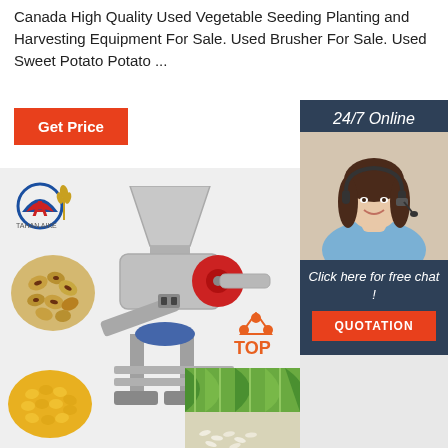Canada High Quality Used Vegetable Seeding Planting and Harvesting Equipment For Sale. Used Brusher For Sale. Used Sweet Potato Potato ...
Get Price
[Figure (screenshot): Agricultural grain milling machine with hopper on top, red flywheel, mounted on metal frame. Logo of brand 'TAHAN AIKE' in top left. Grain samples (wheat/beans, corn kernels) shown in circular insets on left side. Green vegetables and rice visible in bottom right.]
[Figure (infographic): Sidebar with dark blue background: '24/7 Online' text, photo of female customer service agent wearing headset, 'Click here for free chat!' text, orange QUOTATION button]